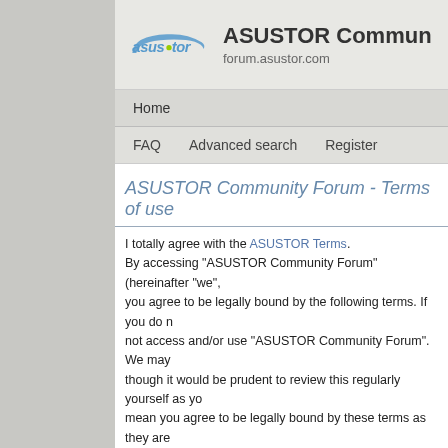[Figure (logo): ASUSTOR logo with stylized text in blue/teal and a green dot accent]
ASUSTOR Commun...
forum.asustor.com
Home
FAQ  Advanced search  Register
ASUSTOR Community Forum - Terms of use
I totally agree with the ASUSTOR Terms.
By accessing "ASUSTOR Community Forum" (hereinafter "we", you agree to be legally bound by the following terms. If you do not access and/or use "ASUSTOR Community Forum". We may though it would be prudent to review this regularly yourself as you mean you agree to be legally bound by these terms as they are
Our forums are powered by phpBB (hereinafter "they", "them", "t... Teams") which is a bulletin board solution released under the "G... www.phpbb.com. The phpBB software only facilitates internet ba... and/or disallow as permissible content and/or conduct. For furth...
You agree not to post any abusive, obscene, vulgar, slandero...